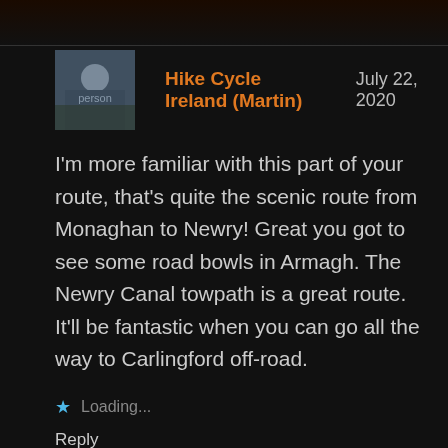[Figure (photo): Avatar photo of a person sitting outdoors]
Hike Cycle Ireland (Martin)
July 22, 2020
I'm more familiar with this part of your route, that's quite the scenic route from Monaghan to Newry! Great you got to see some road bowls in Armagh. The Newry Canal towpath is a great route. It'll be fantastic when you can go all the way to Carlingford off-road.
★ Loading...
Reply